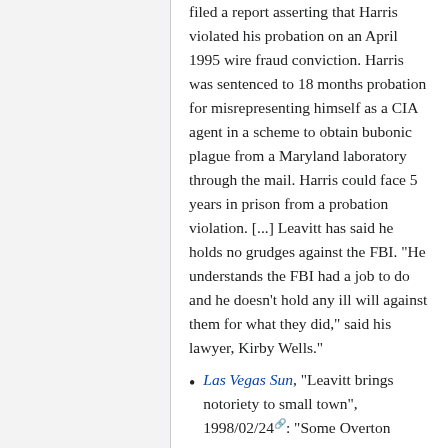filed a report asserting that Harris violated his probation on an April 1995 wire fraud conviction. Harris was sentenced to 18 months probation for misrepresenting himself as a CIA agent in a scheme to obtain bubonic plague from a Maryland laboratory through the mail. Harris could face 5 years in prison from a probation violation. [...] Leavitt has said he holds no grudges against the FBI. "He understands the FBI had a job to do and he doesn't hold any ill will against them for what they did," said his lawyer, Kirby Wells."
Las Vegas Sun, "Leavitt brings notoriety to small town", 1998/02/24: "Some Overton